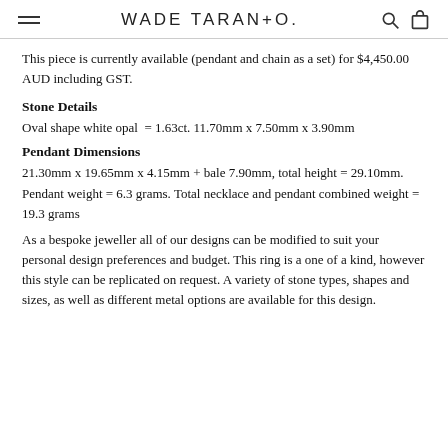WADE TARANTO.
This piece is currently available (pendant and chain as a set) for $4,450.00 AUD including GST.
Stone Details
Oval shape white opal  = 1.63ct. 11.70mm x 7.50mm x 3.90mm
Pendant Dimensions
21.30mm x 19.65mm x 4.15mm + bale 7.90mm, total height = 29.10mm. Pendant weight = 6.3 grams. Total necklace and pendant combined weight = 19.3 grams
As a bespoke jeweller all of our designs can be modified to suit your personal design preferences and budget. This ring is a one of a kind, however this style can be replicated on request. A variety of stone types, shapes and sizes, as well as different metal options are available for this design.